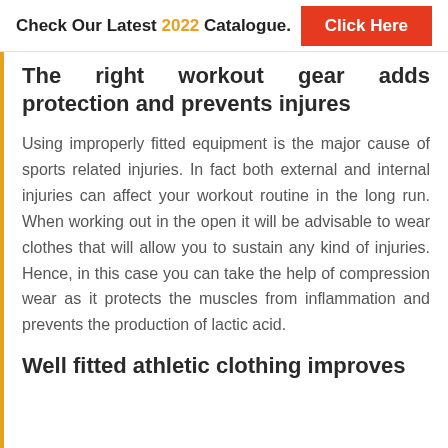Check Our Latest 2022 Catalogue. Click Here
The right workout gear adds protection and prevents injures
Using improperly fitted equipment is the major cause of sports related injuries. In fact both external and internal injuries can affect your workout routine in the long run. When working out in the open it will be advisable to wear clothes that will allow you to sustain any kind of injuries. Hence, in this case you can take the help of compression wear as it protects the muscles from inflammation and prevents the production of lactic acid.
Well fitted athletic clothing improves